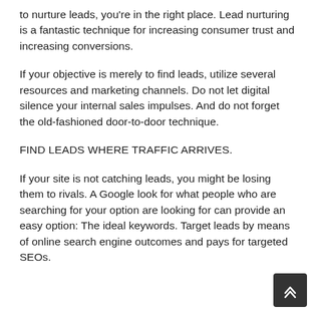to nurture leads, you're in the right place. Lead nurturing is a fantastic technique for increasing consumer trust and increasing conversions.
If your objective is merely to find leads, utilize several resources and marketing channels. Do not let digital silence your internal sales impulses. And do not forget the old-fashioned door-to-door technique.
FIND LEADS WHERE TRAFFIC ARRIVES.
If your site is not catching leads, you might be losing them to rivals. A Google look for what people who are searching for your option are looking for can provide an easy option: The ideal keywords. Target leads by means of online search engine outcomes and pays for targeted SEOs.